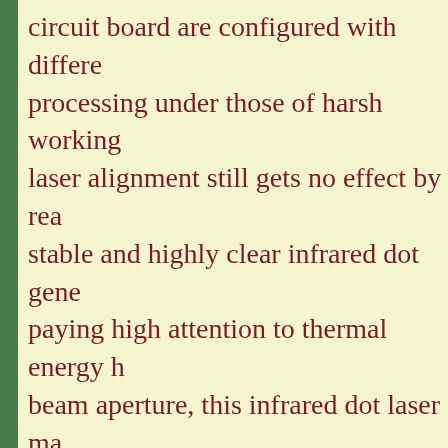circuit board are configured with different processing under those of harsh working laser alignment still gets no effect by real stable and highly clear infrared dot generator paying high attention to thermal energy heat beam aperture, this infrared dot laser makes version fields constantly.
https://www.berlinlasers.com/980nm-infr
https://www.berlinlasers.com/808nm-infr
https://www.berlinlasers.com